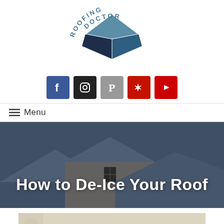[Figure (logo): Roofing Doctor logo with a house/diamond shape in dark and light blue, text 'ROOFING DOCTOR' arched above]
[Figure (infographic): Row of 5 social media icons: Facebook (blue), Instagram (dark), Pinterest (gray), Yelp (red), YouTube (red)]
≡  Menu
[Figure (photo): Hero banner image of snow-covered house rooftop with blue-gray overlay tint, title 'How to De-Ice Your Roof' overlaid in white]
How to De-Ice Your Roof
[Figure (photo): Close-up photo of icicles hanging from a house roof gutter against a blue sky background]